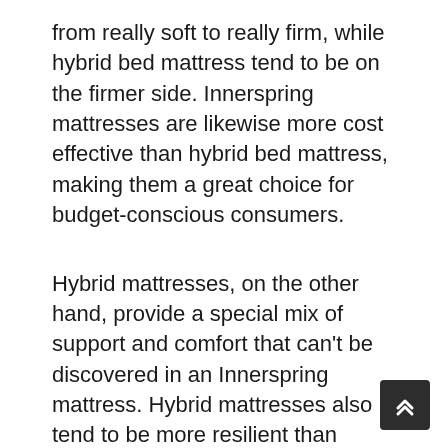from really soft to really firm, while hybrid bed mattress tend to be on the firmer side. Innerspring mattresses are likewise more cost effective than hybrid bed mattress, making them a great choice for budget-conscious consumers.
Hybrid mattresses, on the other hand, provide a special mix of support and comfort that can't be discovered in an Innerspring mattress. Hybrid mattresses also tend to be more resilient than Innerspring mattresses, making them a great financial investment for long-lasting use.
Hybrid bed mattress are made of both innerspring coils and memory foam
While Innerspring mattresses are made of coils only.
Innerspring bed mattress are more responsive to movement than hybrid mattresses, making them an